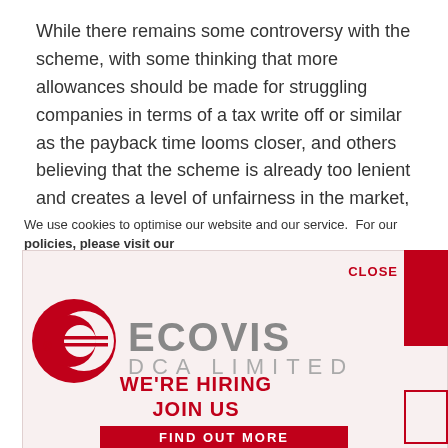While there remains some controversy with the scheme, with some thinking that more allowances should be made for struggling companies in terms of a tax write off or similar as the payback time looms closer, and others believing that the scheme is already too lenient and creates a level of unfairness in the market, there is no
We use cookies to optimise our website and our service.  For our policies, please visit our
CLOSE
[Figure (logo): Ecovis DCA Limited logo with red circular graphic and grey text]
WE'RE HIRING JOIN US
FIND OUT MORE